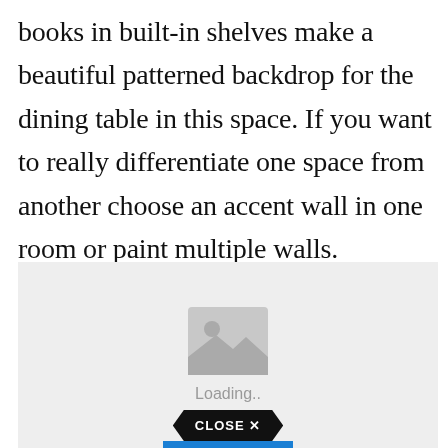books in built-in shelves make a beautiful patterned backdrop for the dining table in this space. If you want to really differentiate one space from another choose an accent wall in one room or paint multiple walls.
[Figure (photo): Image placeholder with a mountain/photo icon and 'Loading..' text, and a black hexagonal 'CLOSE X' button at the bottom center, with a blue bar beneath it.]